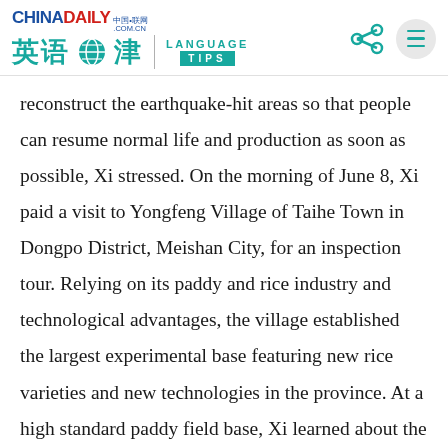CHINADAILY .COM.CN 英语点津 | LANGUAGE TIPS
reconstruct the earthquake-hit areas so that people can resume normal life and production as soon as possible, Xi stressed. On the morning of June 8, Xi paid a visit to Yongfeng Village of Taihe Town in Dongpo District, Meishan City, for an inspection tour. Relying on its paddy and rice industry and technological advantages, the village established the largest experimental base featuring new rice varieties and new technologies in the province. At a high standard paddy field base, Xi learned about the general development of the village and affirmed the village's continuous efforts in helping safeguard national food security by planting grains. Xi